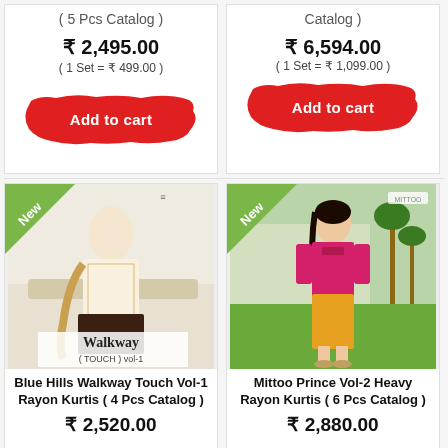( 5 Pcs Catalog )
₹ 2,495.00
( 1 Set = ₹ 499.00 )
Add to cart
Catalog )
₹ 6,594.00
( 1 Set = ₹ 1,099.00 )
Add to cart
[Figure (photo): Blue Hills Walkway Touch Vol-1 Rayon Kurtis product photo showing woman in patterned kurti]
Blue Hills Walkway Touch Vol-1 Rayon Kurtis ( 4 Pcs Catalog )
₹ 2,520.00
[Figure (photo): Mittoo Prince Vol-2 Heavy Rayon Kurtis product photo showing woman in pink kurti]
Mittoo Prince Vol-2 Heavy Rayon Kurtis ( 6 Pcs Catalog )
₹ 2,880.00